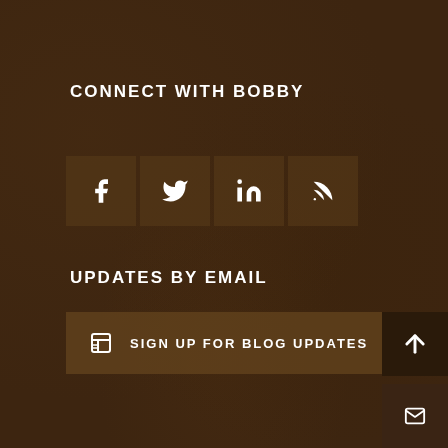CONNECT WITH BOBBY
[Figure (infographic): Four social media icon boxes: Facebook (f), Twitter (bird), LinkedIn (in), RSS feed icon]
UPDATES BY EMAIL
SIGN UP FOR BLOG UPDATES
[Figure (infographic): Back to top arrow button (dark brown square, bottom right)]
[Figure (infographic): Mail/envelope button (dark brown square, bottom right below arrow)]